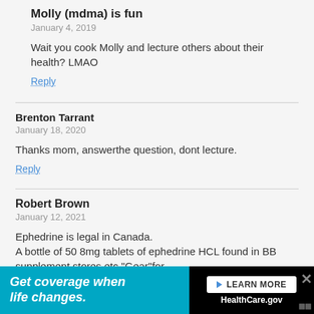Molly (mdma) is fun
January 4, 2019
Wait you cook Molly and lecture others about their health? LMAO
Reply
Brenton Tarrant
January 18, 2020
Thanks mom, answerthe question, dont lecture.
Reply
Robert Brown
January 12, 2021
Ephedrine is legal in Canada.
A bottle of 50 8mg tablets of ephedrine HCL found in BB supplement stores etc."Gear"for
[Figure (infographic): Advertisement banner for HealthCare.gov with teal left panel reading 'Get coverage when life changes.' and black right panel with LEARN MORE button and HealthCare.gov text, plus a close X button]